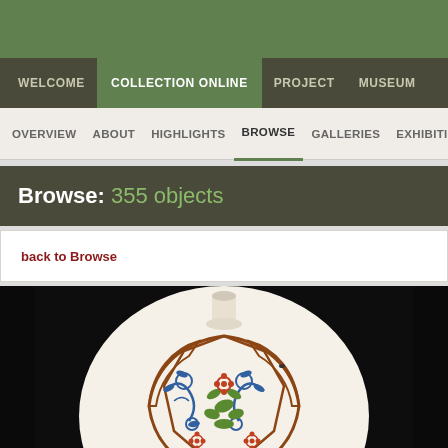Top green banner
WELCOME | COLLECTION ONLINE | PROJECT | MUSEUM
OVERVIEW | ABOUT | HIGHLIGHTS | BROWSE | GALLERIES | EXHIBITIONS
Browse: 355 objects
back to Browse
[Figure (photo): A decorative Japanese/Chinese porcelain vase with floral and foliage patterns in blue, red/brown, and green on a white background, photographed against a dark/black background. The vase is round/globular in shape with a small neck.]